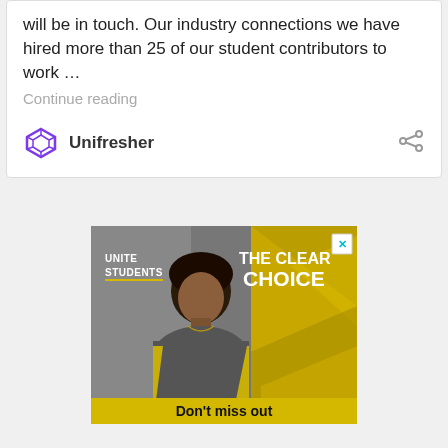will be in touch. Our industry connections we have hired more than 25 of our student contributors to work …
Continue reading
Unifresher
[Figure (photo): Unite Students advertisement banner showing a young man smiling with text 'THE CLEAR CHOICE' and 'Don't miss out' at the bottom, with a close button (X) in the top right corner.]